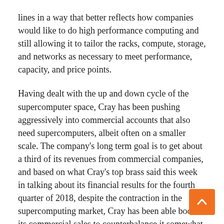lines in a way that better reflects how companies would like to do high performance computing and still allowing it to tailor the racks, compute, storage, and networks as necessary to meet performance, capacity, and price points.
Having dealt with the up and down cycle of the supercomputer space, Cray has been pushing aggressively into commercial accounts that also need supercomputers, albeit often on a smaller scale. The company's long term goal is to get about a third of its revenues from commercial companies, and based on what Cray's top brass said this week in talking about its financial results for the fourth quarter of 2018, despite the contraction in the supercomputing market, Cray has been able boost its commercial sales to counterbalance it somewhat.